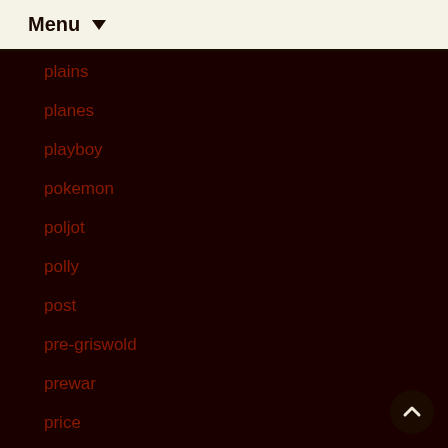Menu ▼
plains
planes
playboy
pokemon
poljot
polly
post
pre-griswold
prewar
price
prices
private
prized